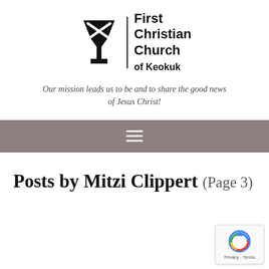[Figure (logo): First Christian Church of Keokuk logo with chalice/cup icon and vertical divider bar next to text]
Our mission leads us to be and to share the good news of Jesus Christ!
[Figure (other): Navigation bar with hamburger menu icon (three horizontal white lines) on grey/taupe background]
Posts by Mitzi Clippert (Page 3)
[Figure (other): reCAPTCHA badge with Privacy - Terms links]